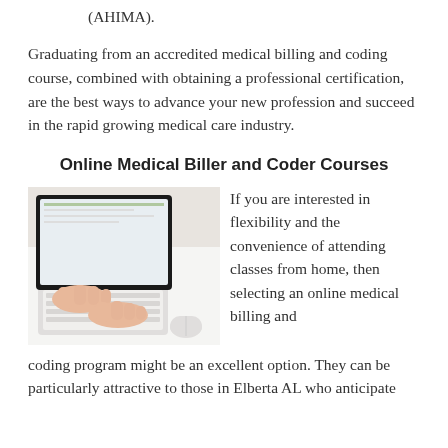(AHIMA).
Graduating from an accredited medical billing and coding course, combined with obtaining a professional certification, are the best ways to advance your new profession and succeed in the rapid growing medical care industry.
Online Medical Biller and Coder Courses
[Figure (photo): Person's hands typing on a laptop/tablet keyboard on a white desk, with a mouse nearby.]
If you are interested in flexibility and the convenience of attending classes from home, then selecting an online medical billing and coding program might be an excellent option. They can be particularly attractive to those in Elberta AL who anticipate